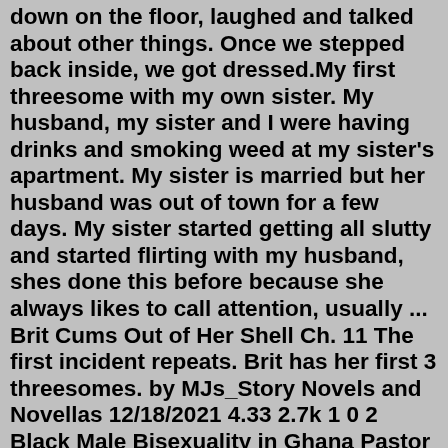down on the floor, laughed and talked about other things. Once we stepped back inside, we got dressed.My first threesome with my own sister. My husband, my sister and I were having drinks and smoking weed at my sister's apartment. My sister is married but her husband was out of town for a few days. My sister started getting all slutty and started flirting with my husband, shes done this before because she always likes to call attention, usually ... Brit Cums Out of Her Shell Ch. 11 The first incident repeats. Brit has her first 3 threesomes. by MJs_Story Novels and Novellas 12/18/2021 4.33 2.7k 1 0 2 Black Male Bisexuality in Ghana Pastor Kwame fucks Esther and Max in Accra, Ghana. by Samuelx Group Sex 11/26/2021 3.53 2.2k 1 0 2 Going Away Present An unexpected Bi threesome.After the threesome. Four hours later, we got out of bed together, drenched in satiated lust. The girls wrapped themselves in towels and I slipped my shorts on, and we stepped out onto the balcony for a smoke. We sat down on the floor, laughed and talked about other things. Once we